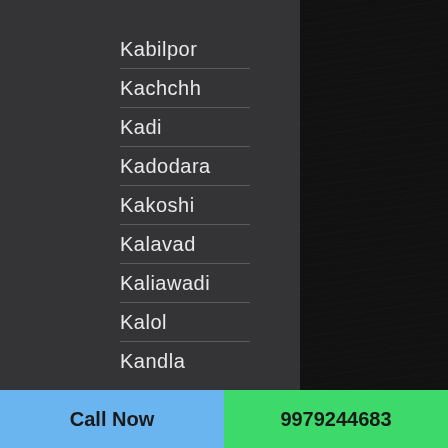Kabilpor
Kachchh
Kadi
Kadodara
Kakoshi
Kalavad
Kaliawadi
Kalol
Kandla
Call Now
9979244683